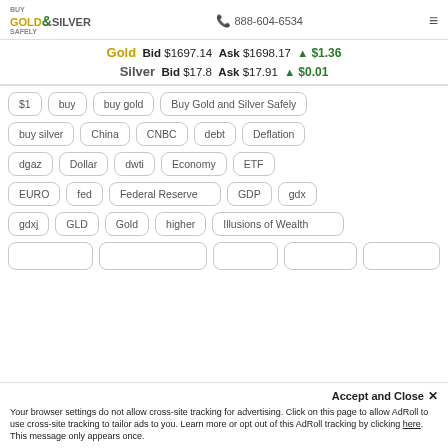Buy Gold & Silver Safely | 888-604-6534
Gold Bid $1697.14 Ask $1698.17 ▲ $1.36
Silver Bid $17.8 Ask $17.91 ▲ $0.01
$1 | buy | buy gold | Buy Gold and Silver Safely | buy silver | China | CNBC | debt | Deflation | dgaz | Dollar | dwti | Economy | ETF | EURO | fed | Federal Reserve | GDP | gdx | gdxj | GLD | Gold | higher | Illusions of Wealth
Accept and Close ✕
Your browser settings do not allow cross-site tracking for advertising. Click on this page to allow AdRoll to use cross-site tracking to tailor ads to you. Learn more or opt out of this AdRoll tracking by clicking here. This message only appears once.